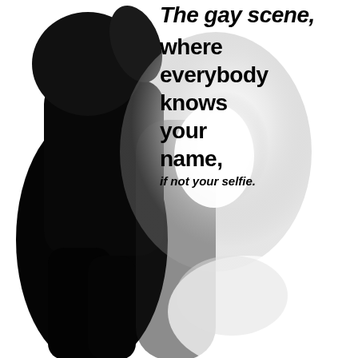[Figure (photo): High-contrast black and white photo of a person dressed in black, leaning or posing with one hand raised to their head, with a strong light source creating a bright overexposed glow in the center-right area, set against a white background.]
The gay scene, where everybody knows your name, if not your selfie.